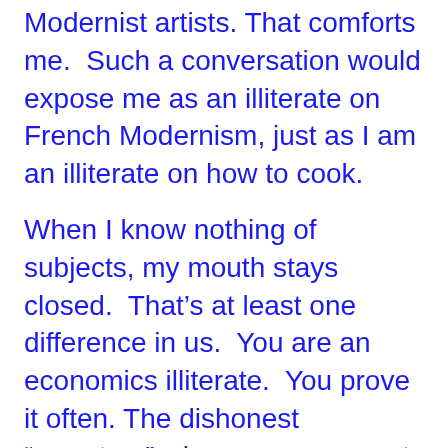No one in my circles discusses French Modernist artists. That comforts me. Such a conversation would expose me as an illiterate on French Modernism, just as I am an illiterate on how to cook.
When I know nothing of subjects, my mouth stays closed. That’s at least one difference in us. You are an economics illiterate. You prove it often. The dishonest “reporters” who cover you want to be your buddy. They won’t embarrass you by being honest journalists and treating your words as economics illiteracy.
When you call Trump “a bum,” none of them